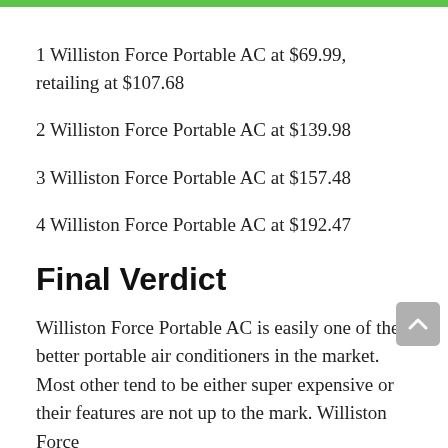1 Williston Force Portable AC at $69.99, retailing at $107.68
2 Williston Force Portable AC at $139.98
3 Williston Force Portable AC at $157.48
4 Williston Force Portable AC at $192.47
Final Verdict
Williston Force Portable AC is easily one of the better portable air conditioners in the market. Most other tend to be either super expensive or their features are not up to the mark. Williston Force